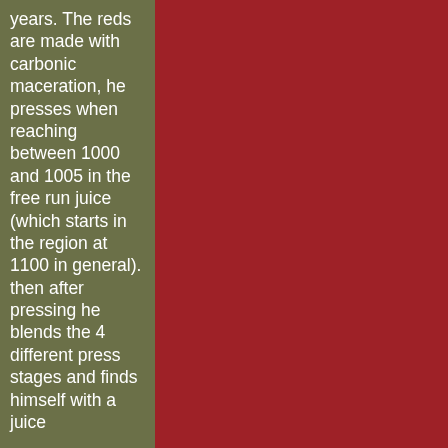years. The reds are made with carbonic maceration, he presses when reaching between 1000 and 1005 in the free run juice (which starts in the region at 1100 in general). then after pressing he blends the 4 different press stages and finds himself with a juice